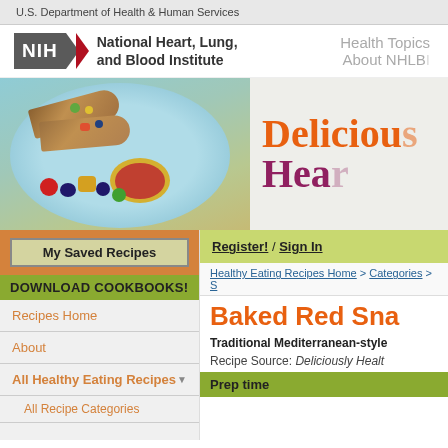U.S. Department of Health & Human Services
[Figure (logo): NIH National Heart, Lung, and Blood Institute logo with NIH text in grey box and red chevron arrow]
Health Topics
About NHLBI
[Figure (photo): Photo of wraps/burritos with colorful vegetables and fruit on a light blue plate, with a bowl of salsa]
Delicious
Hea
My Saved Recipes
DOWNLOAD COOKBOOKS!
Recipes Home
About
All Healthy Eating Recipes
All Recipe Categories
Register! / Sign In
Healthy Eating Recipes Home > Categories > S
Baked Red Sna
Traditional Mediterranean-style
Recipe Source: Deliciously Healt
Prep time